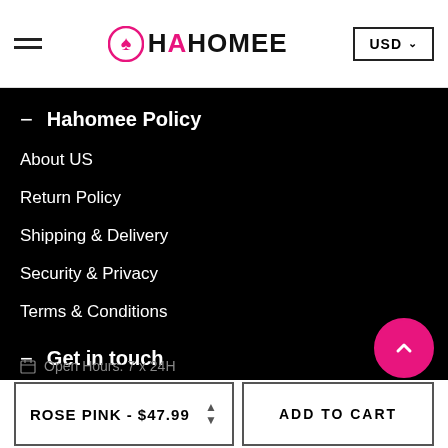[Figure (logo): Hahomee logo with pink spade/house icon and black/pink text]
Hahomee Policy
About US
Return Policy
Shipping & Delivery
Security & Privacy
Terms & Conditions
Get in touch
Contact Form
Open Hours: 7 x 24H
ROSE PINK - $47.99
ADD TO CART